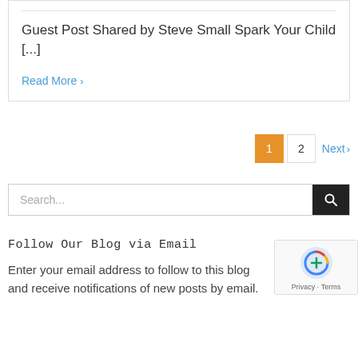Guest Post Shared by Steve Small Spark Your Child [...]
Read More >
1  2  Next >
Search...
Follow Our Blog via Email
Enter your email address to follow to this blog and receive notifications of new posts by email.